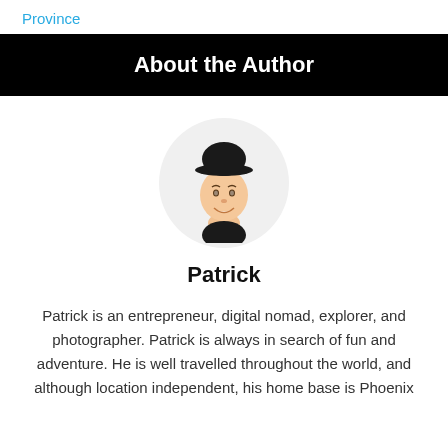Province
About the Author
[Figure (illustration): Cartoon avatar of a man wearing a black cap and black shirt, smiling, displayed in a circular frame]
Patrick
Patrick is an entrepreneur, digital nomad, explorer, and photographer. Patrick is always in search of fun and adventure. He is well travelled throughout the world, and although location independent, his home base is Phoenix